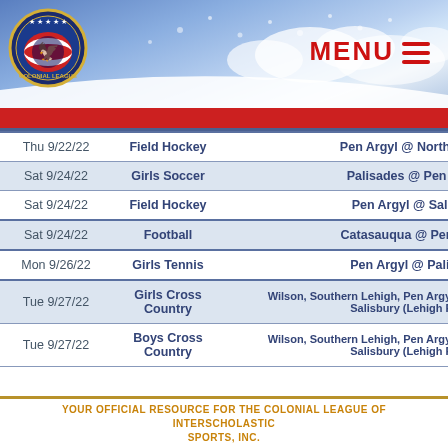[Figure (logo): Colonial League logo — circular badge with stars and American flag motif, red/white/blue colors]
| Date | Sport | Matchup |
| --- | --- | --- |
| Thu 9/22/22 | Field Hockey | Pen Argyl @ Northwest |
| Sat 9/24/22 | Girls Soccer | Palisades @ Pen Argy |
| Sat 9/24/22 | Field Hockey | Pen Argyl @ Salisbur |
| Sat 9/24/22 | Football | Catasauqua @ Pen Arg |
| Mon 9/26/22 | Girls Tennis | Pen Argyl @ Palisade |
| Tue 9/27/22 | Girls Cross Country | Wilson, Southern Lehigh, Pen Argyl, Cat Salisbury (Lehigh Parkw |
| Tue 9/27/22 | Boys Cross Country | Wilson, Southern Lehigh, Pen Argyl, Cat Salisbury (Lehigh Parkw |
YOUR OFFICIAL RESOURCE FOR THE COLONIAL LEAGUE OF INTERSCHOLASTIC SPORTS, INC.